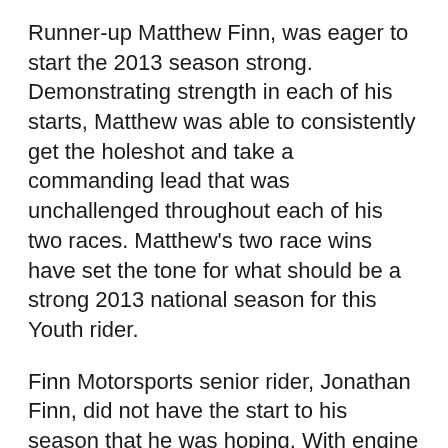Runner-up Matthew Finn, was eager to start the 2013 season strong. Demonstrating strength in each of his starts, Matthew was able to consistently get the holeshot and take a commanding lead that was unchallenged throughout each of his two races. Matthew's two race wins have set the tone for what should be a strong 2013 national season for this Youth rider.
Finn Motorsports senior rider, Jonathan Finn, did not have the start to his season that he was hoping. With engine problems plaguing him all weekend Jonathan was unable to start in either of his Formula Thunder or Spec Formula class races.  However a silver lining appeared when Mike Remple from MiniMob Racing was able to supply Jonathan with a